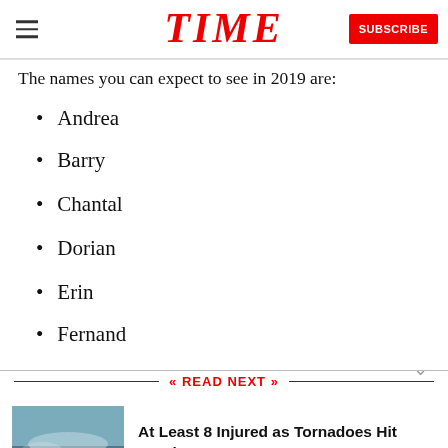TIME | SUBSCRIBE
The names you can expect to see in 2019 are:
Andrea
Barry
Chantal
Dorian
Erin
Fernand
READ NEXT
At Least 8 Injured as Tornadoes Hit Southern U.S.